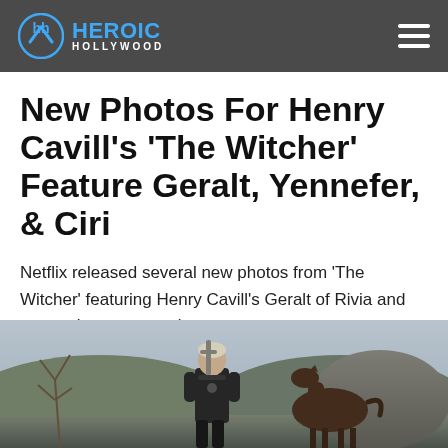Heroic Hollywood
New Photos For Henry Cavill's 'The Witcher' Feature Geralt, Yennefer, & Ciri
Netflix released several new photos from 'The Witcher' featuring Henry Cavill's Geralt of Rivia and supporting cast members.
[Figure (photo): Scene from The Witcher showing a man in dark armor with a sword on his back standing next to a horse, in an outdoor setting with rocks and bare trees in the background.]